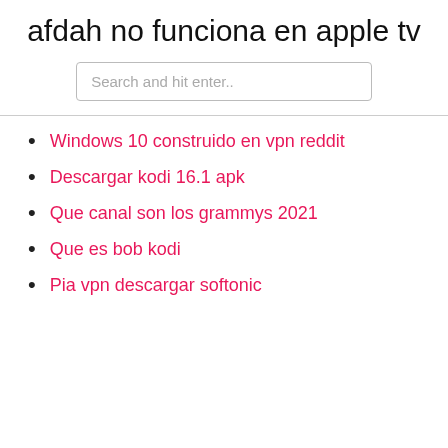afdah no funciona en apple tv
Search and hit enter..
Windows 10 construido en vpn reddit
Descargar kodi 16.1 apk
Que canal son los grammys 2021
Que es bob kodi
Pia vpn descargar softonic